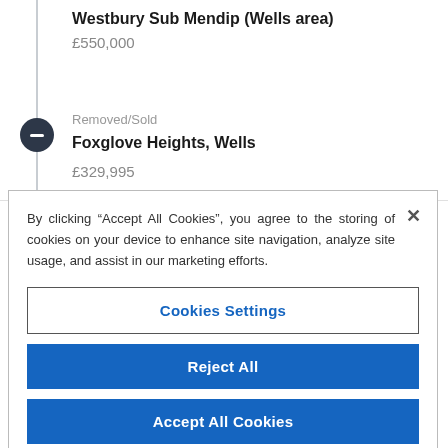Westbury Sub Mendip (Wells area)
£550,000
Removed/Sold
Foxglove Heights, Wells
£329,995
By clicking "Accept All Cookies", you agree to the storing of cookies on your device to enhance site navigation, analyze site usage, and assist in our marketing efforts.
Cookies Settings
Reject All
Accept All Cookies